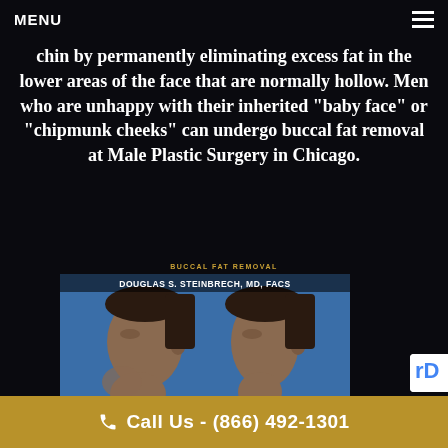MENU
chin by permanently eliminating excess fat in the lower areas of the face that are normally hollow. Men who are unhappy with their inherited “baby face” or “chipmunk cheeks” can undergo buccal fat removal at Male Plastic Surgery in Chicago.
BUCCAL FAT REMOVAL
[Figure (photo): Before and after side-profile photos of a male patient showing buccal fat removal results. Labeled: DOUGLAS S. STEINBRECH, MD, FACS; WWW.MALEPLASTICSURGERY.COM; #41929. Left: BEFORE, Right: AFTER.]
Call Us - (866) 492-1301